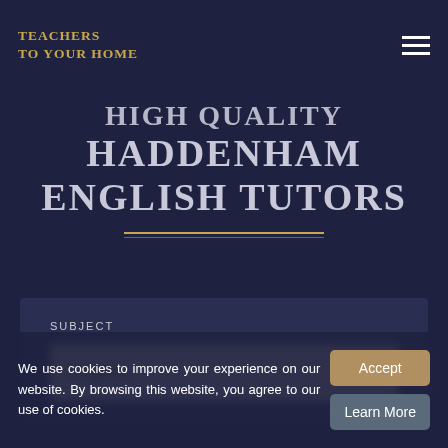TEACHERS TO YOUR HOME
HIGH QUALITY HADDENHAM ENGLISH TUTORS
SUBJECT
English ×
We use cookies to improve your experience on our website. By browsing this website, you agree to our use of cookies.